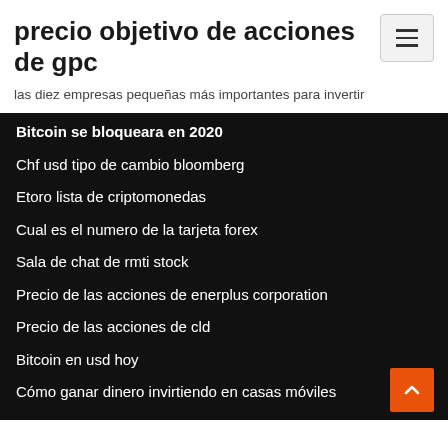precio objetivo de acciones de gpc
las diez empresas pequeñas más importantes para invertir
Bitcoin se bloqueara en 2020
Chf usd tipo de cambio bloomberg
Etoro lista de criptomonedas
Cual es el numero de la tarjeta forex
Sala de chat de rmti stock
Precio de las acciones de enerplus corporation
Precio de las acciones de cld
Bitcoin en usd hoy
Cómo ganar dinero invirtiendo en casas móviles